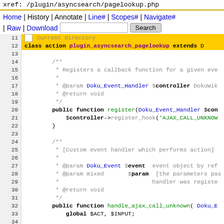xref: /plugin/asyncsearch/pagelookup.php
Home | History | Annotate | Line# | Scopes# | Navigate# | Raw | Download   Search
[Figure (screenshot): PHP source code viewer showing class action_plugin_asyncsearch_pagelookup with register and handle_ajax_call_unknown methods, lines 11-35]
Current directory